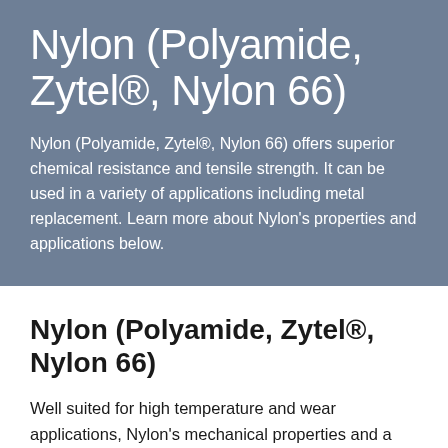Nylon (Polyamide, Zytel®, Nylon 66)
Nylon (Polyamide, Zytel®, Nylon 66) offers superior chemical resistance and tensile strength. It can be used in a variety of applications including metal replacement. Learn more about Nylon's properties and applications below.
Nylon (Polyamide, Zytel®, Nylon 66)
Well suited for high temperature and wear applications, Nylon's mechanical properties and a